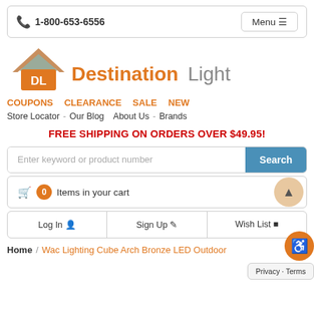1-800-653-6556  Menu
[Figure (logo): Destination Lighting logo with orange DL house icon and gray text]
COUPONS   CLEARANCE   SALE   NEW
Store Locator - Our Blog   About Us - Brands
FREE SHIPPING ON ORDERS OVER $49.95!
Enter keyword or product number  Search
0 Items in your cart
Log In   Sign Up   Wish List
Home / Wac Lighting Cube Arch Bronze LED Outdoor